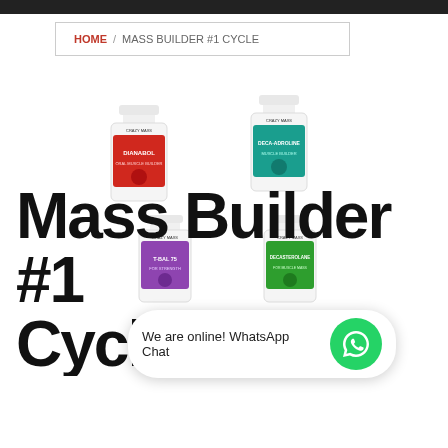HOME / MASS BUILDER #1 CYCLE
[Figure (photo): Four supplement bottles arranged in a 2x2 grid: top-left is DIANABOL (red label), top-right is DECA-ADROLINE (teal label), bottom-left is T-BAL 75 (purple label), bottom-right is DECASTEROLANE (green label)]
Mass Builder #1 Cycle
We are online! WhatsApp Chat